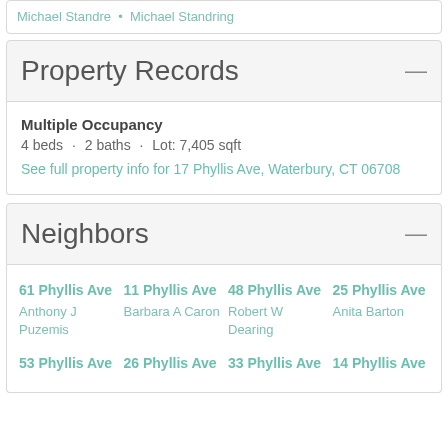Michael Standre · Michael Standring
Property Records
Multiple Occupancy
4 beds · 2 baths · Lot: 7,405 sqft
See full property info for 17 Phyllis Ave, Waterbury, CT 06708
Neighbors
61 Phyllis Ave
Anthony J Puzemis
11 Phyllis Ave
Barbara A Caron
48 Phyllis Ave
Robert W Dearing
25 Phyllis Ave
Anita Barton
53 Phyllis Ave
26 Phyllis Ave
33 Phyllis Ave
14 Phyllis Ave